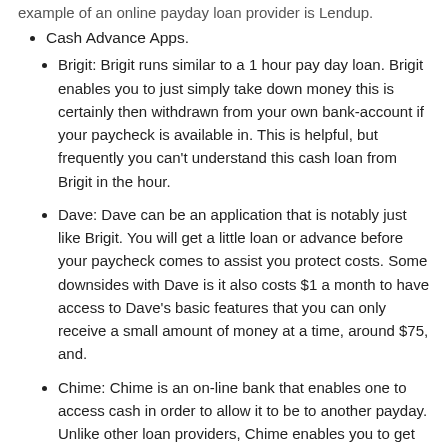example of an online payday loan provider is Lendup.
Cash Advance Apps.
Brigit: Brigit runs similar to a 1 hour pay day loan. Brigit enables you to just simply take down money this is certainly then withdrawn from your own bank-account if your paycheck is available in. This is helpful, but frequently you can't understand this cash loan from Brigit in the hour.
Dave: Dave can be an application that is notably just like Brigit. You will get a little loan or advance before your paycheck comes to assist you protect costs. Some downsides with Dave is it also costs $1 a month to have access to Dave's basic features that you can only receive a small amount of money at a time, around $75, and.
Chime: Chime is an on-line bank that enables one to access cash in order to allow it to be to another payday. Unlike other loan providers, Chime enables you to get access to your hard earned money nearly instantly. Nevertheless, you will probably